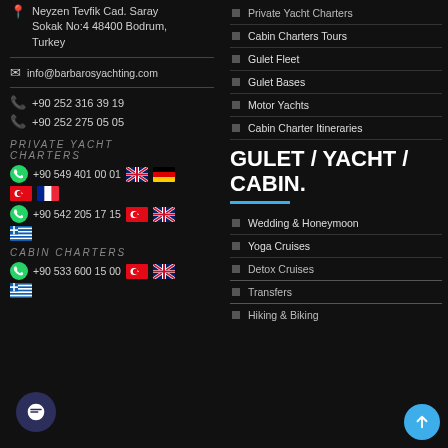Neyzen Tevfik Cad. Saray Sokak No:4 48400 Bodrum, Turkey
info@barbarosyachting.com
+90 252 316 39 19
+90 252 275 05 05
PRIVATE YACHT CHARTERS
+90 549 401 00 01
+90 542 205 17 15
CABIN CHARTERS
+90 533 600 15 00
Private Yacht Charters
Cabin Charters Tours
Gulet Fleet
Gulet Bases
Motor Yachts
Cabin Charter Itineraries
GULET / YACHT / CABIN.
Wedding & Honeymoon
Yoga Cruises
Detox Cruises
Transfers
Hiking & Biking